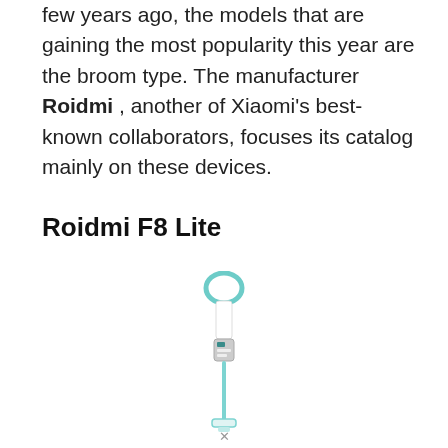few years ago, the models that are gaining the most popularity this year are the broom type. The manufacturer Roidmi , another of Xiaomi's best-known collaborators, focuses its catalog mainly on these devices.
Roidmi F8 Lite
[Figure (photo): A Roidmi F8 Lite broom-type vacuum cleaner shown vertically. The device has a white body with teal/cyan accent trim on the handle loop at the top, a slim white body with a small display/battery indicator module in the middle, and a teal-colored long thin tube extending downward to a small base.]